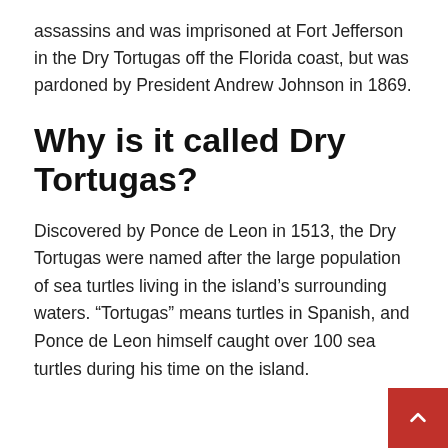assassins and was imprisoned at Fort Jefferson in the Dry Tortugas off the Florida coast, but was pardoned by President Andrew Johnson in 1869.
Why is it called Dry Tortugas?
Discovered by Ponce de Leon in 1513, the Dry Tortugas were named after the large population of sea turtles living in the island's surrounding waters. “Tortugas” means turtles in Spanish, and Ponce de Leon himself caught over 100 sea turtles during his time on the island.